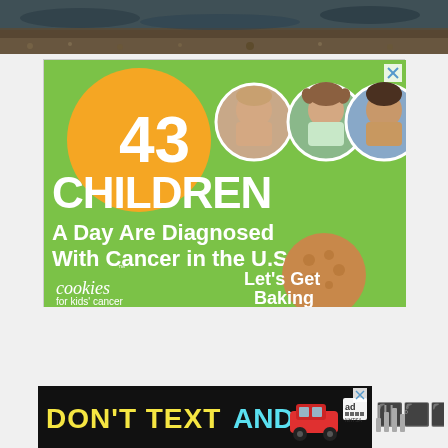[Figure (photo): Top portion of a nature/water scene photo, showing a reflective water body with muddy or gravelly shore, partially cropped at top of page.]
[Figure (infographic): Advertisement for Cookies for Kids' Cancer. Green background with orange circle containing '43'. Three circular photos of children. Large white text: '43 CHILDREN A Day Are Diagnosed With Cancer in the U.S.' Logo: 'cookies for kids' cancer'. Text: 'Let's Get Baking'. Close button X in top right corner.]
[Figure (infographic): Advertisement banner: 'DON'T TEXT AND' with image of a red car, AdChoices logo, and NHTSA logo. Black background with yellow and cyan text. Partially visible at bottom of page.]